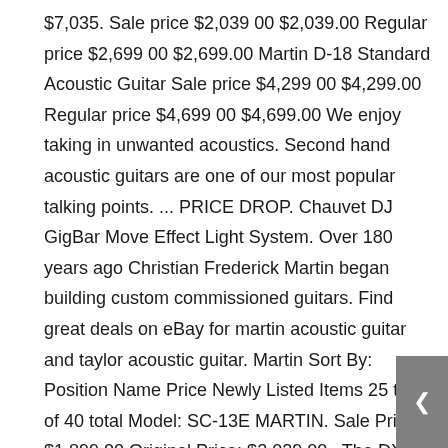$7,035. Sale price $2,039 00 $2,039.00 Regular price $2,699 00 $2,699.00 Martin D-18 Standard Acoustic Guitar Sale price $4,299 00 $4,299.00 Regular price $4,699 00 $4,699.00 We enjoy taking in unwanted acoustics. Second hand acoustic guitars are one of our most popular talking points. ... PRICE DROP. Chauvet DJ GigBar Move Effect Light System. Over 180 years ago Christian Frederick Martin began building custom commissioned guitars. Find great deals on eBay for martin acoustic guitar and taylor acoustic guitar. Martin Sort By: Position Name Price Newly Listed Items 25 to 36 of 40 total Model: SC-13E MARTIN. Sale Price: $1,899.00 Original Price: $2,029.00 . The DX1AE acoustic-electric guitar features a D-14 platform and a Dreadnought body design that produces the rich, dynamic